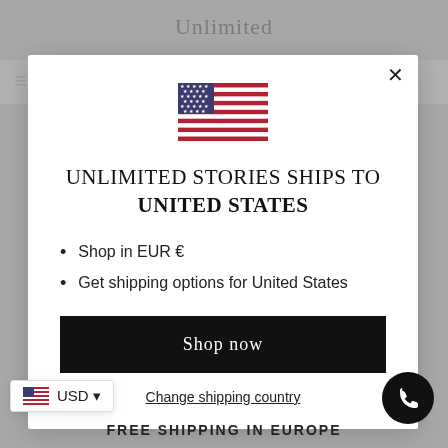[Figure (screenshot): Website header showing 'Unlimited' text on grey background]
[Figure (illustration): US flag SVG illustration centered in modal]
UNLIMITED STORIES SHIPS TO UNITED STATES
Shop in EUR €
Get shipping options for United States
Shop now
Change shipping country
USD
FREE SHIPPING IN EUROPE